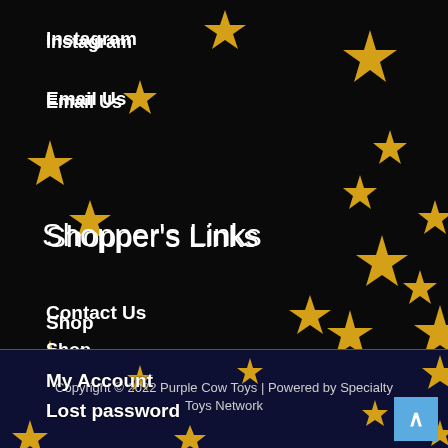Instagram
Email Us
Shopper's Links
Shop
Cart
My Account
Lost password
Contact Us
Copyright © 2022 Purple Cow Toys | Powered by Specialty Toys Network